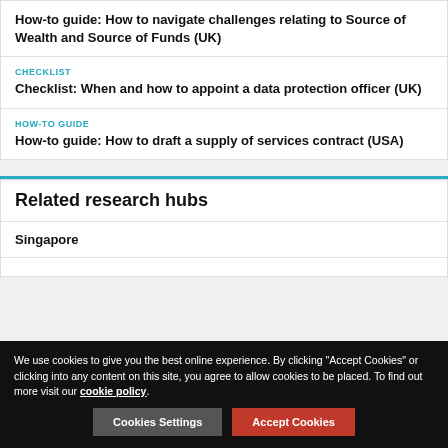How-to guide: How to navigate challenges relating to Source of Wealth and Source of Funds (UK)
CHECKLIST
Checklist: When and how to appoint a data protection officer (UK)
HOW-TO GUIDE
How-to guide: How to draft a supply of services contract (USA)
Related research hubs
Singapore
We use cookies to give you the best online experience. By clicking "Accept Cookies" or clicking into any content on this site, you agree to allow cookies to be placed. To find out more visit our cookie policy.